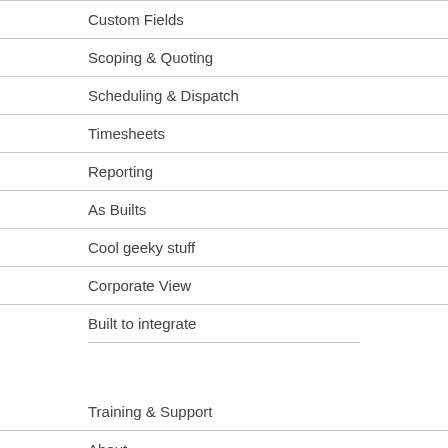Custom Fields
Scoping & Quoting
Scheduling & Dispatch
Timesheets
Reporting
As Builts
Cool geeky stuff
Corporate View
Built to integrate
Training & Support
About